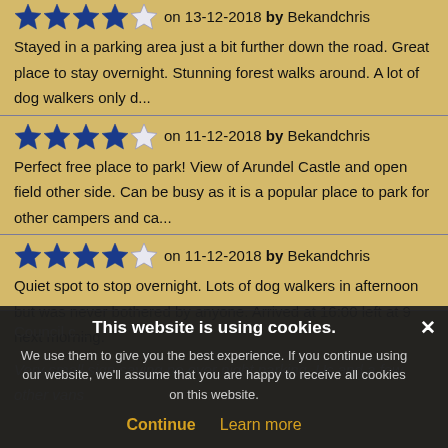on 13-12-2018 by Bekandchris — 4.5 stars — Stayed in a parking area just a bit further down the road. Great place to stay overnight. Stunning forest walks around. A lot of dog walkers only d...
on 11-12-2018 by Bekandchris — 4 stars — Perfect free place to park! View of Arundel Castle and open field other side. Can be busy as it is a popular place to park for other campers and ca...
on 11-12-2018 by Bekandchris — 4 stars — Quiet spot to stop overnight. Lots of dog walkers in afternoon but was never bothered by anyone. Arrived at 16:00 left at 9 next morning.
Council c...
Very small sign saying no over night parking. Us and a few other vans
This website is using cookies. We use them to give you the best experience. If you continue using our website, we'll assume that you are happy to receive all cookies on this website.
Continue | Learn more